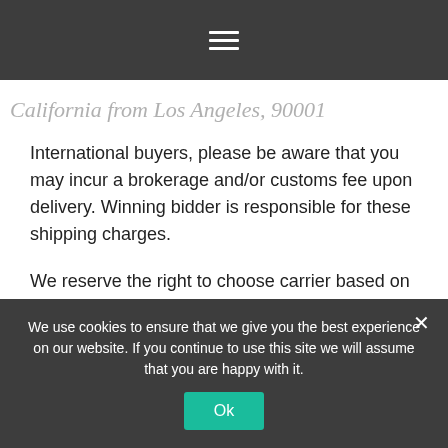[Navigation bar with hamburger menu icon]
[Partially visible page title — cropped italic text]
International buyers, please be aware that you may incur a brokerage and/or customs fee upon delivery. Winning bidder is responsible for these shipping charges.
We reserve the right to choose carrier based on shipping method selected at time of payment. Combined shipping is done at the seller's discretion. If you purchase more than one item from us, they may arrive in separate packages.
We use cookies to ensure that we give you the best experience on our website. If you continue to use this site we will assume that you are happy with it.